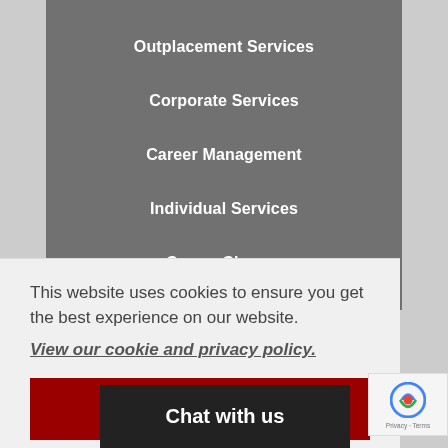Outplacement Services
Corporate Services
Career Management
Individual Services
Career Change
About Personal Career Management
This website uses cookies to ensure you get the best experience on our website.
View our cookie and privacy policy.
Dismiss
Chat with us